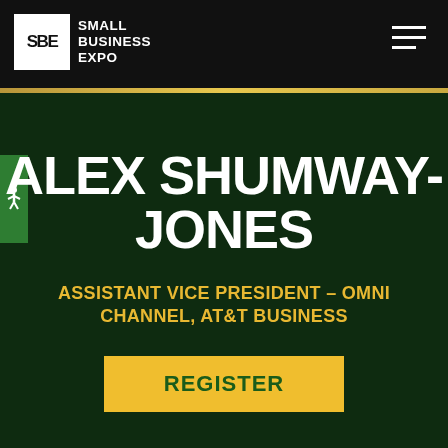SBE SMALL BUSINESS EXPO
ALEX SHUMWAY-JONES
ASSISTANT VICE PRESIDENT – OMNI CHANNEL, AT&T BUSINESS
REGISTER